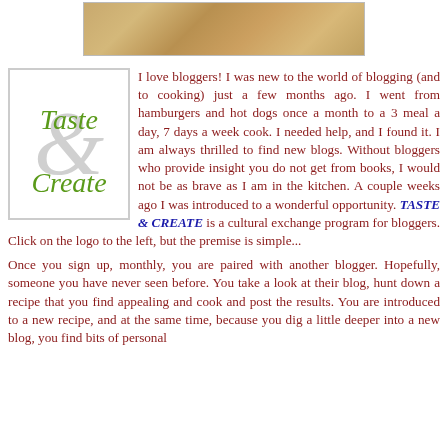[Figure (photo): Close-up photo of food (pasta or noodles with sauce) at the top of the page]
[Figure (logo): Taste & Create blog logo with green text 'Taste & Create' and a gray ampersand symbol in a white box with gray border]
I love bloggers! I was new to the world of blogging (and to cooking) just a few months ago. I went from hamburgers and hot dogs once a month to a 3 meal a day, 7 days a week cook. I needed help, and I found it. I am always thrilled to find new blogs. Without bloggers who provide insight you do not get from books, I would not be as brave as I am in the kitchen. A couple weeks ago I was introduced to a wonderful opportunity. TASTE & CREATE is a cultural exchange program for bloggers. Click on the logo to the left, but the premise is simple...
Once you sign up, monthly, you are paired with another blogger. Hopefully, someone you have never seen before. You take a look at their blog, hunt down a recipe that you find appealing and cook and post the results. You are introduced to a new recipe, and at the same time, because you dig a little deeper into a new blog, you find bits of personal